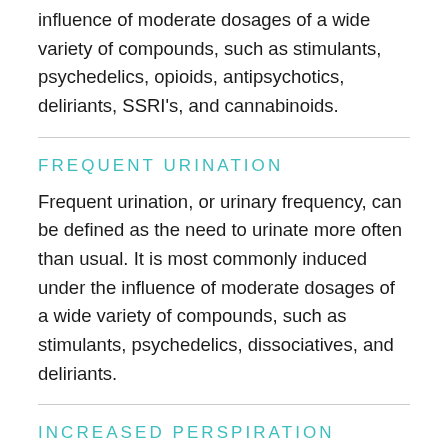influence of moderate dosages of a wide variety of compounds, such as stimulants, psychedelics, opioids, antipsychotics, deliriants, SSRI's, and cannabinoids.
FREQUENT URINATION
Frequent urination, or urinary frequency, can be defined as the need to urinate more often than usual. It is most commonly induced under the influence of moderate dosages of a wide variety of compounds, such as stimulants, psychedelics, dissociatives, and deliriants.
INCREASED PERSPIRATION
Increased perspiration, or hyperhidrosis, can be described as a condition characterized by increased